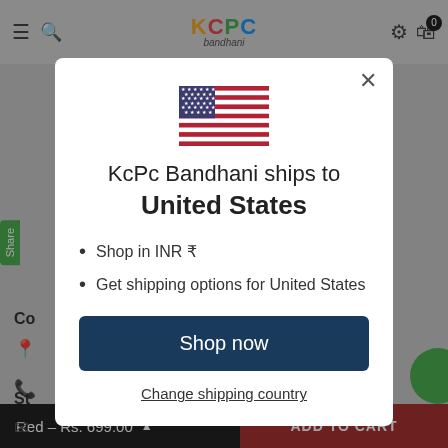KCPC Bandhani - Navigation bar with menu, search, logo, settings, cart (0)
[Figure (screenshot): US flag emoji / icon displayed in modal dialog]
KcPc Bandhani ships to United States
Shop in INR ₹
Get shipping options for United States
Shop now
Change shipping country
Red – Rs. 699.00   ADD TO CART